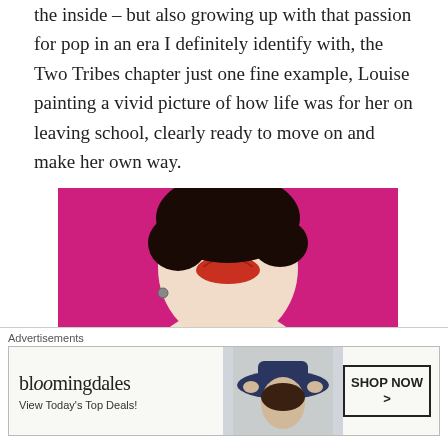the inside – but also growing up with that passion for pop in an era I definitely identify with, the Two Tribes chapter just one fine example, Louise painting a vivid picture of how life was for her on leaving school, clearly ready to move on and make her own way.
[Figure (photo): Close-up photo of a woman with short dark hair and red lips wearing a yellow t-shirt that reads 'different' in navy script, against a bright magenta/pink background.]
Advertisements
[Figure (screenshot): Bloomingdale's advertisement banner: 'bloomingdales / View Today's Top Deals!' with a woman wearing a wide-brim hat and a 'SHOP NOW >' button.]